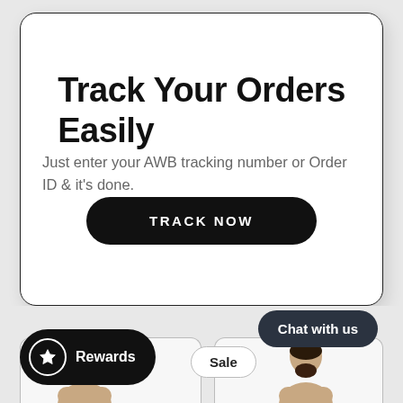Track Your Orders Easily
Just enter your AWB tracking number or Order ID & it's done.
[Figure (screenshot): Black rounded pill button labeled TRACK NOW]
[Figure (infographic): Bottom strip showing Rewards pill with star icon, Sale pill, Chat with us pill, and two person silhouettes in card stubs]